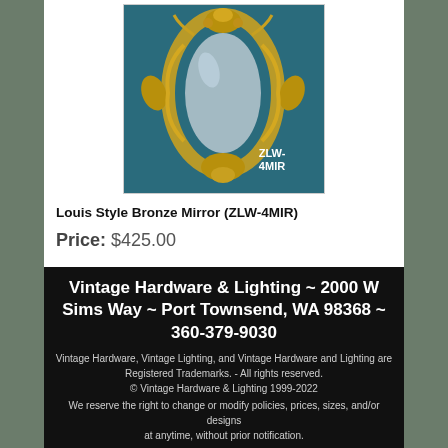[Figure (photo): Ornate Louis Style Bronze Mirror with decorative gold scrollwork frame on teal/dark background. Text overlay reads 'ZLW-4MIR']
Louis Style Bronze Mirror (ZLW-4MIR)
Price: $425.00
Vintage Hardware & Lighting ~ 2000 W Sims Way ~ Port Townsend, WA 98368 ~ 360-379-9030
Vintage Hardware, Vintage Lighting, and Vintage Hardware and Lighting are Registered Trademarks. - All rights reserved.
© Vintage Hardware & Lighting 1999-2022
We reserve the right to change or modify policies, prices, sizes, and/or designs at anytime, without prior notification.